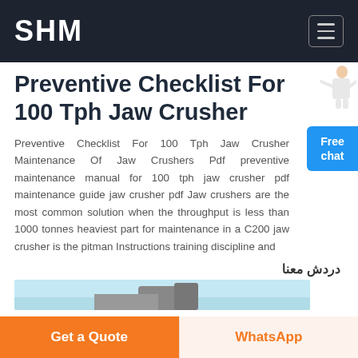SHM
Preventive Checklist For 100 Tph Jaw Crusher
Preventive Checklist For 100 Tph Jaw Crusher Maintenance Of Jaw Crushers Pdf preventive maintenance manual for 100 tph jaw crusher pdf maintenance guide jaw crusher pdf Jaw crushers are the most common solution when the throughput is less than 1000 tonnes heaviest part for maintenance in a C200 jaw crusher is the pitman Instructions training discipline and
دردش معنا
[Figure (photo): Partial image of a jaw crusher or related machinery visible at bottom of page]
Get a Quote
WhatsApp